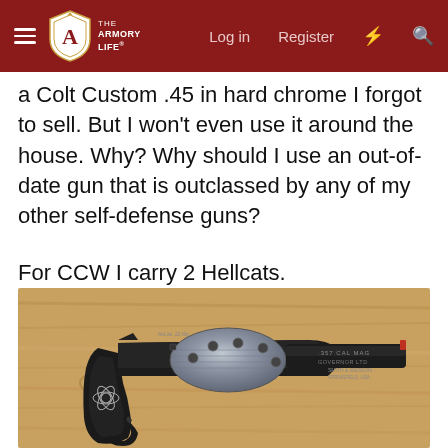The Armory Life — Log in | Register
a Colt Custom .45 in hard chrome I forgot to sell. But I won't even use it around the house. Why? Why should I use an out-of-date gun that is outclassed by any of my other self-defense guns?
For CCW I carry 2 Hellcats.
[Figure (photo): A black Smith & Wesson revolver with a short barrel, cylindrical silver cylinder, and atomic/molecule design on the grip, resting on a wood-grain surface.]